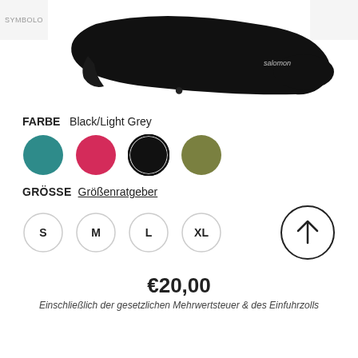[Figure (photo): Black ankle sock product photo on white background, shown from the side. Logo text visible on sock.]
FARBE   Black/Light Grey
[Figure (illustration): Four color selector circles: teal/dark cyan, pink/crimson, black (selected, with ring), olive green.]
GRÖSSE   Größenratgeber
[Figure (illustration): Four size selector circles: S, M, L, XL. An up-arrow circle button on the right.]
€20,00
Einschließlich der gesetzlichen Mehrwertsteuer & des Einfuhrzolls